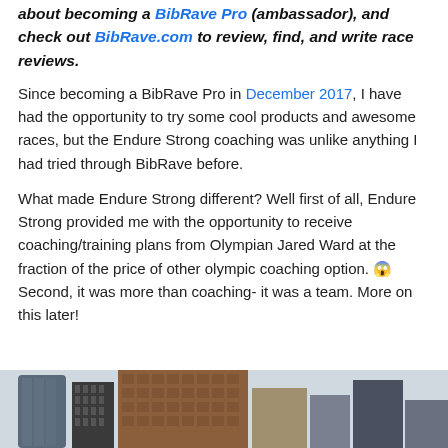about becoming a BibRave Pro (ambassador), and check out BibRave.com to review, find, and write race reviews.
Since becoming a BibRave Pro in December 2017, I have had the opportunity to try some cool products and awesome races, but the Endure Strong coaching was unlike anything I had tried through BibRave before.
What made Endure Strong different? Well first of all, Endure Strong provided me with the opportunity to receive coaching/training plans from Olympian Jared Ward at the fraction of the price of other olympic coaching option. 😱 Second, it was more than coaching- it was a team. More on this later!
[Figure (photo): City skyline with tall buildings including a curved glass skyscraper on the left and brick/stone buildings on the right]